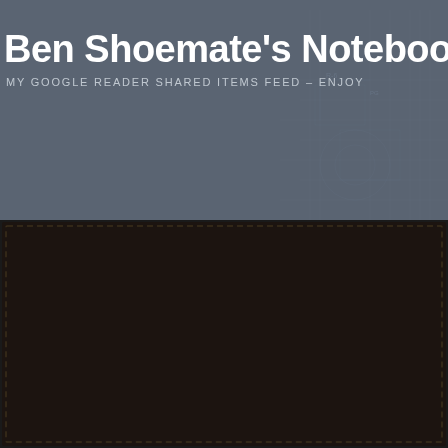Ben Shoemate's Notebook
MY GOOGLE READER SHARED ITEMS FEED – ENJOY
Posts Tagged 'website'
Creating a Cartoon Character for It Stick?
[Figure (screenshot): Empty white content box below the post title, partially visible, with a thin border]